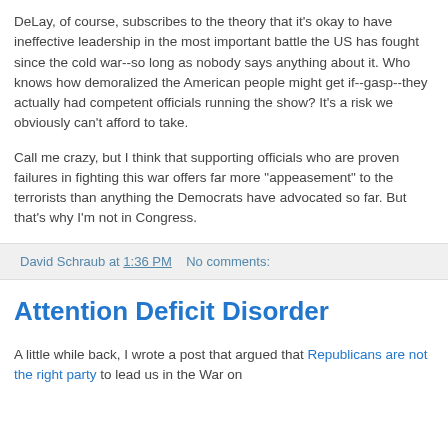DeLay, of course, subscribes to the theory that it's okay to have ineffective leadership in the most important battle the US has fought since the cold war--so long as nobody says anything about it. Who knows how demoralized the American people might get if--gasp--they actually had competent officials running the show? It's a risk we obviously can't afford to take.
Call me crazy, but I think that supporting officials who are proven failures in fighting this war offers far more "appeasement" to the terrorists than anything the Democrats have advocated so far. But that's why I'm not in Congress.
David Schraub at 1:36 PM   No comments:
Attention Deficit Disorder
A little while back, I wrote a post that argued that Republicans are not the right party to lead us in the War on